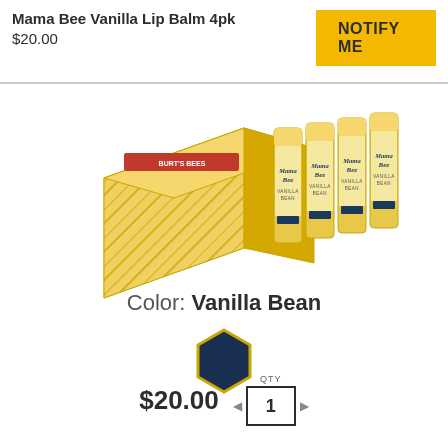Mama Bee Vanilla Lip Balm 4pk
$20.00
NOTIFY ME
[Figure (photo): Product photo of Mama Bee Vanilla Lip Balm 4pk showing a decorative gold and white geometric-patterned box and four individual lip balm tubes with Mama Bee Vanilla Bean labels.]
Color: Vanilla Bean
[Figure (illustration): Dark navy blue hexagon color swatch with gold border.]
$20.00
QTY 1